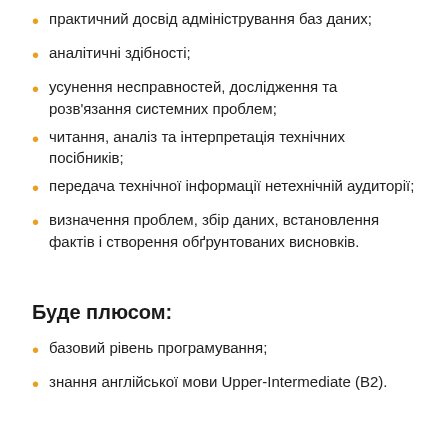практичний досвід адміністрування баз даних;
аналітичні здібності;
усунення несправностей, дослідження та розв'язання системних проблем;
читання, аналіз та інтерпретація технічних посібників;
передача технічної інформації нетехнічній аудиторії;
визначення проблем, збір даних, встановлення фактів і створення обґрунтованих висновків.
Буде плюсом:
базовий рівень програмування;
знання англійської мови Upper-Intermediate (B2).
Genesis – це унікальне місце для розвитку та зростання з:
досвідом у розробці високонавантажених продуктів